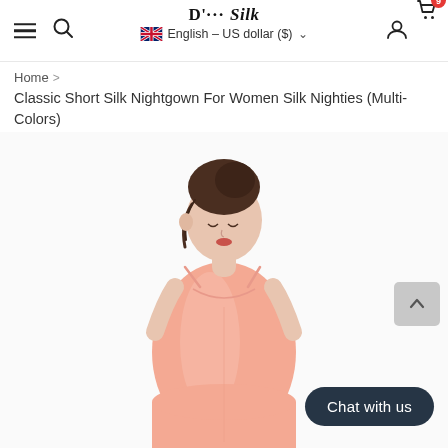D'… Silk  |  English – US dollar ($)
Home > Classic Short Silk Nightgown For Women Silk Nighties (Multi-Colors)
Classic Short Silk Nightgown For Women Silk Nighties (Multi-Colors)
[Figure (photo): Woman modeling a peach/salmon spaghetti-strap silk nightgown, looking downward, photographed against a white background.]
Chat with us